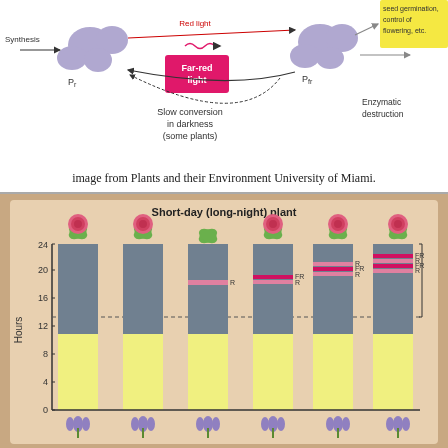[Figure (schematic): Phytochrome interconversion diagram showing Pr and Pfr forms with arrows for synthesis, red light conversion, far-red light conversion, slow conversion in darkness, and enzymatic destruction leading to seed germination, control of flowering, etc.]
image from Plants and their Environment University of Miami.
[Figure (bar-chart): Bar chart showing hours of light (yellow) and dark (gray) for 6 conditions of short-day plants, with critical night length dashed line at ~13.5 hours. Some bars show R and FR light interruptions in the dark period. Rose flowers shown above bars with flowering; iris/grass shown below bars without flowering.]